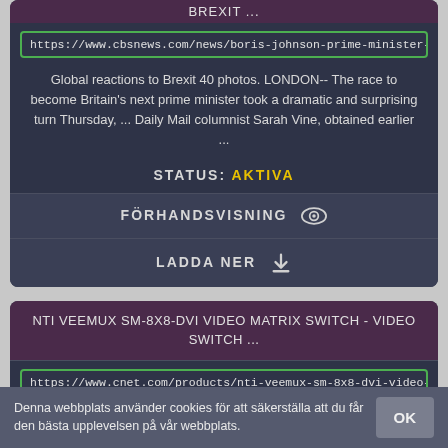BREXIT ...
https://www.cbsnews.com/news/boris-johnson-prime-minister-brexit-br
Global reactions to Brexit 40 photos. LONDON-- The race to become Britain's next prime minister took a dramatic and surprising turn Thursday, ... Daily Mail columnist Sarah Vine, obtained earlier ...
STATUS: AKTIVA
FÖRHANDSVISNING
LADDA NER
NTI VEEMUX SM-8X8-DVI VIDEO MATRIX SWITCH - VIDEO SWITCH ...
https://www.cnet.com/products/nti-veemux-sm-8x8-dvi-video-matrix-sw
Denna webbplats använder cookies för att säkerställa att du får den bästa upplevelsen på vår webbplats.
OK